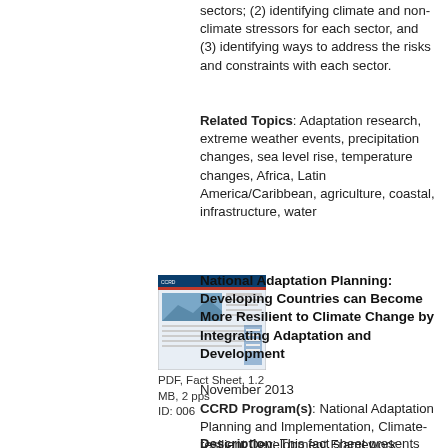sectors; (2) identifying climate and non-climate stressors for each sector, and (3) identifying ways to address the risks and constraints with each sector.
Related Topics: Adaptation research, extreme weather events, precipitation changes, sea level rise, temperature changes, Africa, Latin America/Caribbean, agriculture, coastal, infrastructure, water
[Figure (illustration): Thumbnail image of a PDF fact sheet document cover]
PDF, Fact Sheet, 1.2 MB, 2 pps ID: 006
National Adaptation Planning: Developing Countries can Become More Resilient to Climate Change by Integrating Adaptation and Development
November 2013
CCRD Program(s): National Adaptation Planning and Implementation, Climate-resilient Development Framework
Description: This fact sheet presents the USAID National Adaptation Plan (NAP) process,